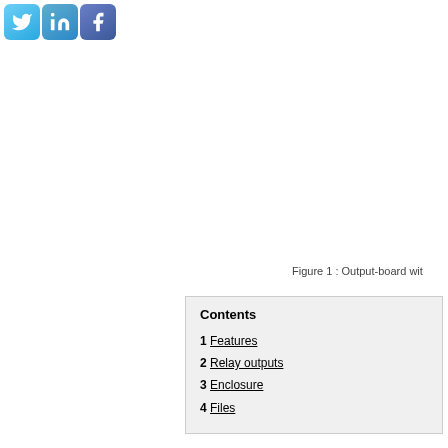[Figure (other): Social media icons: Twitter (blue bird), LinkedIn (blue 'in'), Facebook (blue 'f')]
Figure 1 : Output-board wit
Contents
1 Features
2 Relay outputs
3 Enclosure
4 Files